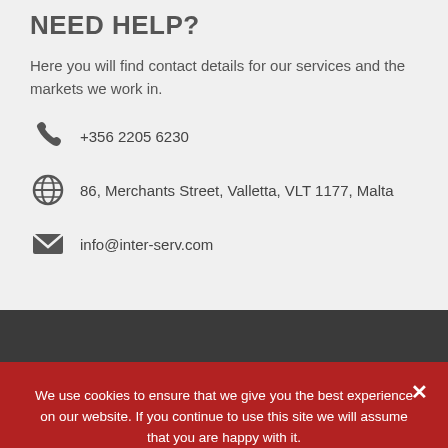NEED HELP?
Here you will find contact details for our services and the markets we work in.
+356 2205 6230
86, Merchants Street, Valletta, VLT 1177, Malta
info@inter-serv.com
We use cookies to ensure that we give you the best experience on our website. If you continue to use this site we will assume that you are happy with it.